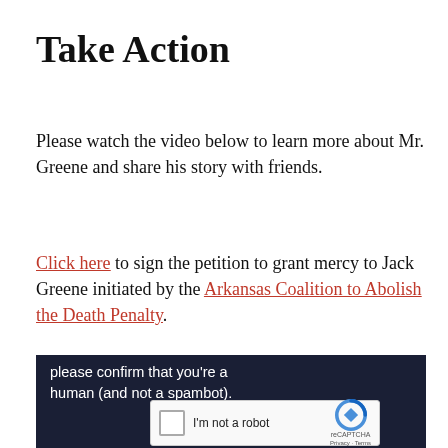Take Action
Please watch the video below to learn more about Mr. Greene and share his story with friends.
Click here to sign the petition to grant mercy to Jack Greene initiated by the Arkansas Coalition to Abolish the Death Penalty.
[Figure (screenshot): A dark navy screenshot showing partial text 'please confirm that youâ€™re a human (and not a spambot).' with a reCAPTCHA widget below showing a checkbox labeled 'I’m not a robot' and the reCAPTCHA logo with 'Privacy · Terms'.]